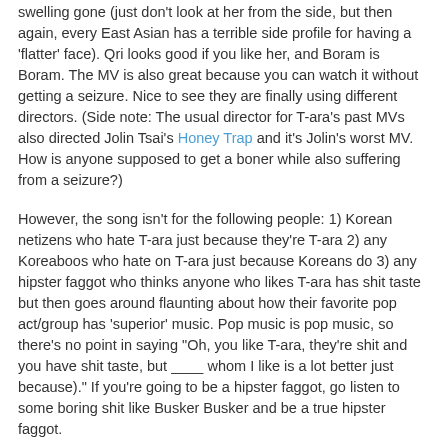swelling gone (just don't look at her from the side, but then again, every East Asian has a terrible side profile for having a 'flatter' face). Qri looks good if you like her, and Boram is Boram. The MV is also great because you can watch it without getting a seizure. Nice to see they are finally using different directors. (Side note: The usual director for T-ara's past MVs also directed Jolin Tsai's Honey Trap and it's Jolin's worst MV. How is anyone supposed to get a boner while also suffering from a seizure?)
However, the song isn't for the following people: 1) Korean netizens who hate T-ara just because they're T-ara 2) any Koreaboos who hate on T-ara just because Koreans do 3) any hipster faggot who thinks anyone who likes T-ara has shit taste but then goes around flaunting about how their favorite pop act/group has 'superior' music. Pop music is pop music, so there's no point in saying "Oh, you like T-ara, they're shit and you have shit taste, but ____ whom I like is a lot better just because)." If you're going to be a hipster faggot, go listen to some boring shit like Busker Busker and be a true hipster faggot.